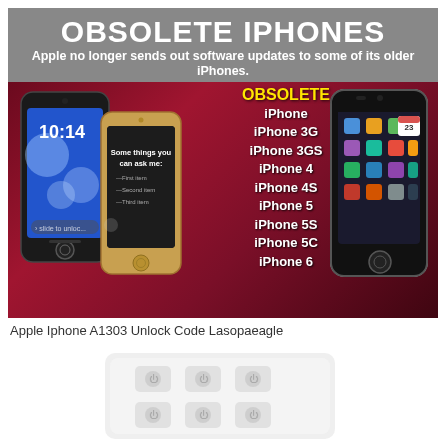[Figure (infographic): Obsolete iPhones infographic with banner title 'OBSOLETE iPHONES', subtitle 'Apple no longer sends out software updates to some of its older iPhones.', showing three iPhones and a list of obsolete models: iPhone, iPhone 3G, iPhone 3GS, iPhone 4, iPhone 4S, iPhone 5, iPhone 5S, iPhone 5C, iPhone 6]
Apple Iphone A1303 Unlock Code Lasopaeagle
[Figure (photo): Blurred white electronic device with button grid, on white background]